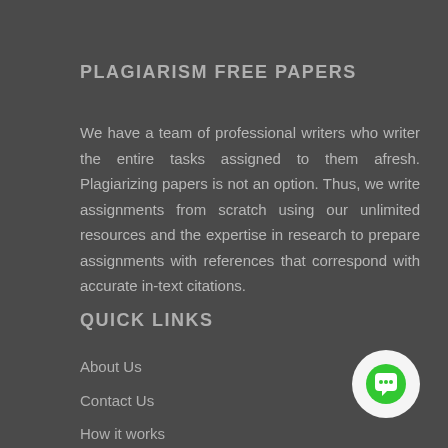PLAGIARISM FREE PAPERS
We have a team of professional writers who writer the entire tasks assigned to them afresh. Plagiarizing papers is not an option. Thus, we write assignments from scratch using our unlimited resources and the expertise in research to prepare assignments with references that correspond with accurate in-text citations.
QUICK LINKS
About Us
Contact Us
How it works
[Figure (illustration): Green chat bubble icon inside a white circle, positioned in bottom-right corner]